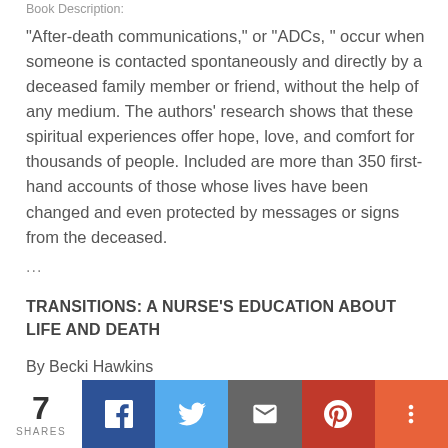Book Description:
“After-death communications,” or “ADCs, ” occur when someone is contacted spontaneously and directly by a deceased family member or friend, without the help of any medium. The authors’ research shows that these spiritual experiences offer hope, love, and comfort for thousands of people. Included are more than 350 first-hand accounts of those whose lives have been changed and even protected by messages or signs from the deceased.
...
TRANSITIONS: A NURSE’S EDUCATION ABOUT LIFE AND DEATH
By Becki Hawkins
7 SHARES | Facebook | Twitter | Email | Pinterest | More